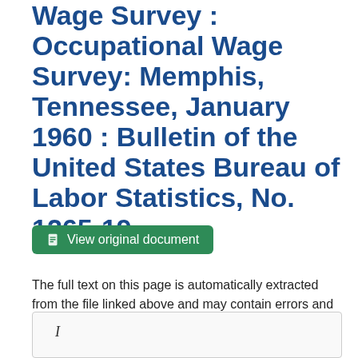Wage Survey : Occupational Wage Survey: Memphis, Tennessee, January 1960 : Bulletin of the United States Bureau of Labor Statistics, No. 1265-19
View original document
The full text on this page is automatically extracted from the file linked above and may contain errors and inconsistencies.